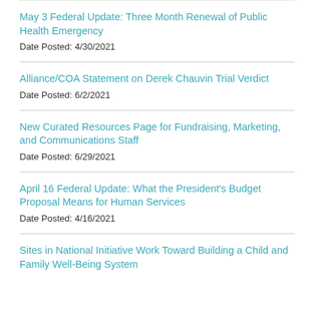May 3 Federal Update: Three Month Renewal of Public Health Emergency
Date Posted: 4/30/2021
Alliance/COA Statement on Derek Chauvin Trial Verdict
Date Posted: 6/2/2021
New Curated Resources Page for Fundraising, Marketing, and Communications Staff
Date Posted: 6/29/2021
April 16 Federal Update: What the President's Budget Proposal Means for Human Services
Date Posted: 4/16/2021
Sites in National Initiative Work Toward Building a Child and Family Well-Being System